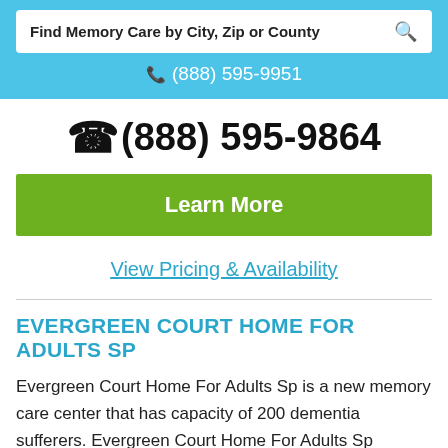Find Memory Care by City, Zip or County
(888) 595-9951
(888) 595-9864
Learn More
View Pricing & Availability
EVERGREEN COURT HOME FOR ADULTS SP
Evergreen Court Home For Adults Sp is a new memory care center that has capacity of 200 dementia sufferers. Evergreen Court Home For Adults Sp provides amenities such as tranquil and